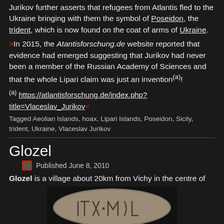Jurikov further asserts that refugees from Atlantis fled to the Ukraine bringing with them the symbol of Poseidon, the trident, which is now found on the coat of arms of Ukraine.
>In 2015, the Atantisforschung.de website reported that evidence had emerged suggesting that Jurikov had never been a member of the Russian Academy of Sciences and that the whole Lipari claim was just an invention(a)!
(a) https://atlantisforschung.de/index.php?title=Vlaceslav_Jurikov<
Tagged Aeolian Islands, hoax, Lipari Islands, Poseidon, Sicily, trident, Ukraine, Vlaceslav Jurikov
Glozel
Published June 8, 2010
Glozel is a village about 20km from Vichy in the centre of
[Figure (photo): An ancient-looking stone or clay tablet with inscribed symbols/letters, photographed against a dark background]